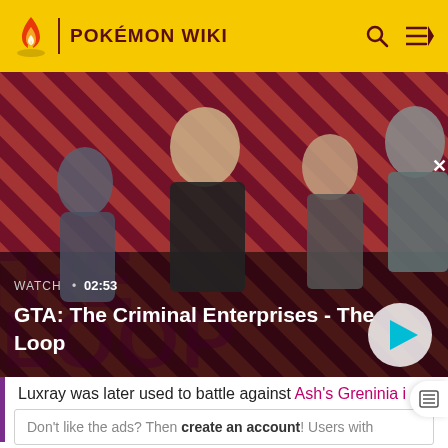POKÉMON WIKI
[Figure (screenshot): Video thumbnail for GTA: The Criminal Enterprises - The Loop. Shows four characters on a red diagonal striped background. Overlay shows WATCH • 02:53 label and a play button.]
GTA: The Criminal Enterprises - The Loop
Luxray was later used to battle against Ash's Greninia i
Don't like the ads? Then create an account! Users with